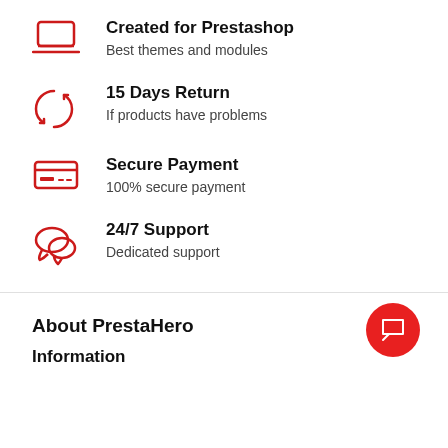Created for Prestashop
Best themes and modules
15 Days Return
If products have problems
Secure Payment
100% secure payment
24/7 Support
Dedicated support
About PrestaHero
Information